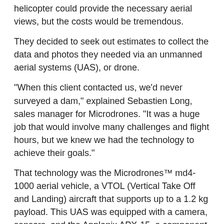helicopter could provide the necessary aerial views, but the costs would be tremendous.
They decided to seek out estimates to collect the data and photos they needed via an unmanned aerial systems (UAS), or drone.
"When this client contacted us, we'd never surveyed a dam," explained Sebastien Long, sales manager for Microdrones. "It was a huge job that would involve many challenges and flight hours, but we knew we had the technology to achieve their goals."
That technology was the Microdrones™ md4-1000 aerial vehicle, a VTOL (Vertical Take Off and Landing) aircraft that supports up to a 1.2 kg payload. This UAS was equipped with a camera, sensors, and the Applanix APX-15, a component designed to drastically improve the efficiency of mapping missions. APX-15 accomplishes these goals by:
1. allowing data to be accurately collected without surveying an extensive number of ground control points.